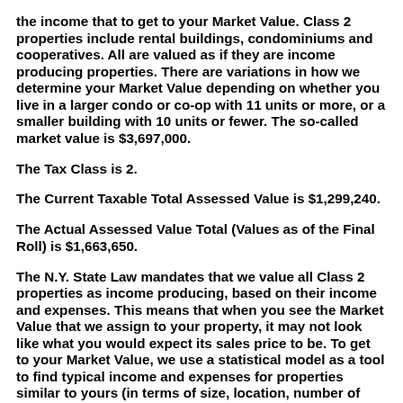the income that to get to your Market Value. Class 2 properties include rental buildings, condominiums and cooperatives. All are valued as if they are income producing properties. There are variations in how we determine your Market Value depending on whether you live in a larger condo or co-op with 11 units or more, or a smaller building with 10 units or fewer. The so-called market value is $3,697,000. The Tax Class is 2. The Current Taxable Total Assessed Value is $1,299,240. The Actual Assessed Value Total (Values as of the Final Roll) is $1,663,650. The N.Y. State Law mandates that we value all Class 2 properties as income producing, based on their income and expenses. This means that when you see the Market Value that we assign to your property, it may not look like what you would expect its sales price to be. To get to your Market Value, we use a statistical model as a tool to find typical income and expenses for properties similar to yours (in terms of size, location, number of units and age). Next, we apply a formula to